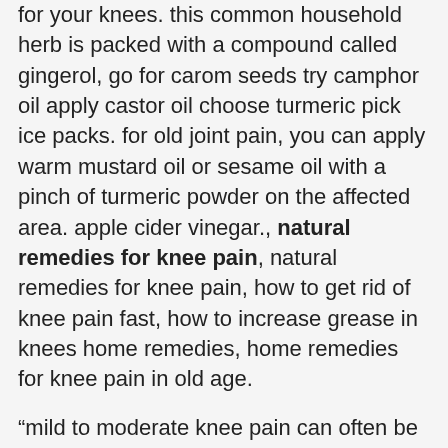for your knees. this common household herb is packed with a compound called gingerol, go for carom seeds try camphor oil apply castor oil choose turmeric pick ice packs. for old joint pain, you can apply warm mustard oil or sesame oil with a pinch of turmeric powder on the affected area. apple cider vinegar., natural remedies for knee pain, natural remedies for knee pain, how to get rid of knee pain fast, how to increase grease in knees home remedies, home remedies for knee pain in old age.
“mild to moderate knee pain can often be treated at home. if you had a recent twist or fall, try rice therapy (rest, ice, compression with a bandage and elevation over a pillow). if you have long-standing knee discomfort, daily exercises can help keep muscles strong and maintain mobility. ginger has excellent antiseptic properties that help to reduce knee pain and swelling. it improves the blood circulation in order to heat and heal the affected 5. heat and cold therapy. a heating pad can help